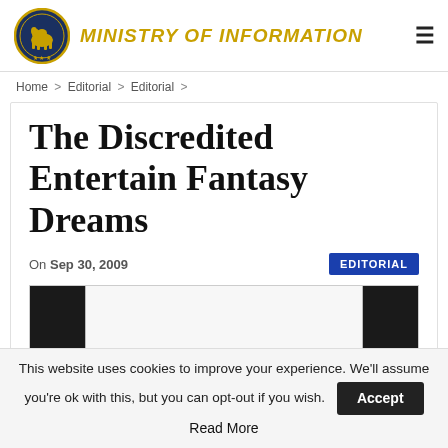MINISTRY OF INFORMATION
Home > Editorial > Editorial >
The Discredited Entertain Fantasy Dreams
On Sep 30, 2009  EDITORIAL
[Figure (photo): Article header image with dark side bars and light center panel]
This website uses cookies to improve your experience. We'll assume you're ok with this, but you can opt-out if you wish.  Accept  Read More